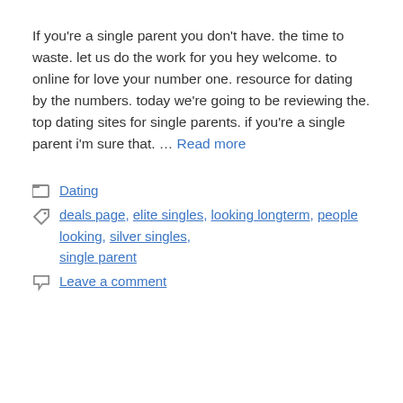If you're a single parent you don't have. the time to waste. let us do the work for you hey welcome. to online for love your number one. resource for dating by the numbers. today we're going to be reviewing the. top dating sites for single parents. if you're a single parent i'm sure that. … Read more
Dating
deals page, elite singles, looking longterm, people looking, silver singles, single parent
Leave a comment